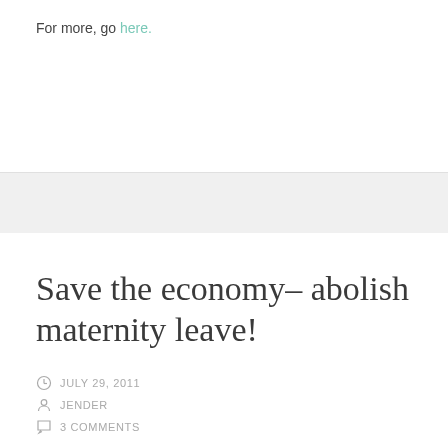For more, go here.
Save the economy– abolish maternity leave!
JULY 29, 2011
JENDER
3 COMMENTS